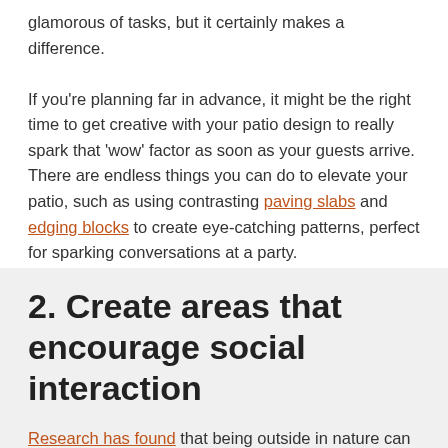glamorous of tasks, but it certainly makes a difference.

If you're planning far in advance, it might be the right time to get creative with your patio design to really spark that 'wow' factor as soon as your guests arrive. There are endless things you can do to elevate your patio, such as using contrasting paving slabs and edging blocks to create eye-catching patterns, perfect for sparking conversations at a party.
2. Create areas that encourage social interaction
Research has found that being outside in nature can encourage positive social interactions, cohesion and engagement, which helps us to decrease stress – like we